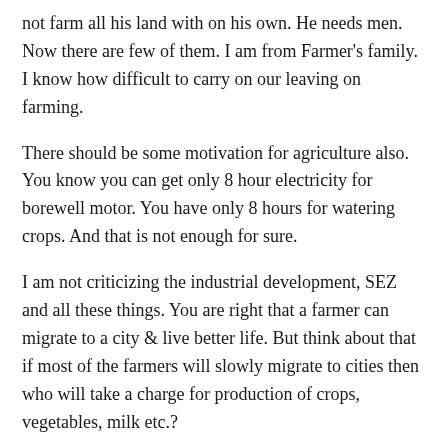not farm all his land with on his own. He needs men. Now there are few of them. I am from Farmer's family. I know how difficult to carry on our leaving on farming.
There should be some motivation for agriculture also. You know you can get only 8 hour electricity for borewell motor. You have only 8 hours for watering crops. And that is not enough for sure.
I am not criticizing the industrial development, SEZ and all these things. You are right that a farmer can migrate to a city & live better life. But think about that if most of the farmers will slowly migrate to cities then who will take a charge for production of crops, vegetables, milk etc.?
Like
REPLY